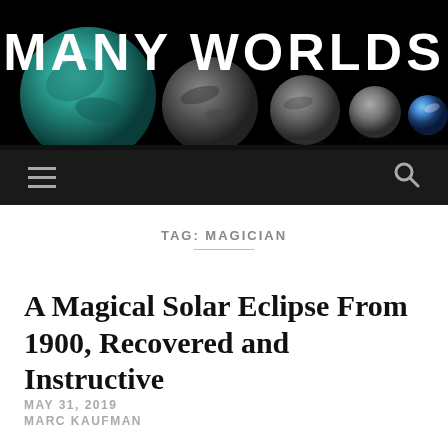[Figure (illustration): Website header banner with black background showing several planet spheres (teal/green exoplanet, rocky planets, Earth-like planets) arranged in a row with reflections, with 'MANY WORLDS' text overlaid in large white bold letters]
MANY WORLDS
TAG: MAGICIAN
A Magical Solar Eclipse From 1900, Recovered and Instructive
MAY 31, 2019
MARC KAUFMAN